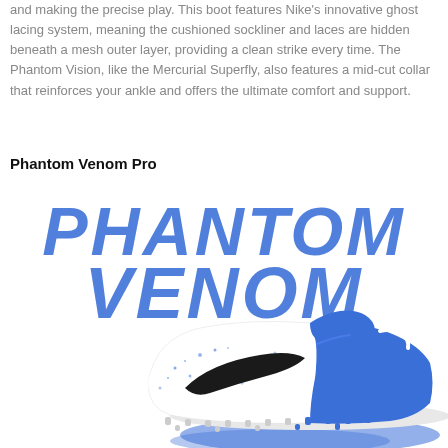and making the precise play. This boot features Nike's innovative ghost lacing system, meaning the cushioned sockliner and laces are hidden beneath a mesh outer layer, providing a clean strike every time. The Phantom Vision, like the Mercurial Superfly, also features a mid-cut collar that reinforces your ankle and offers the ultimate comfort and support.
Phantom Venom Pro
[Figure (photo): Nike Phantom Venom Pro football boot in white and royal blue colorway with black Nike swoosh, shown on a white background with large blue PHANTOM VENOM text graphic behind it.]